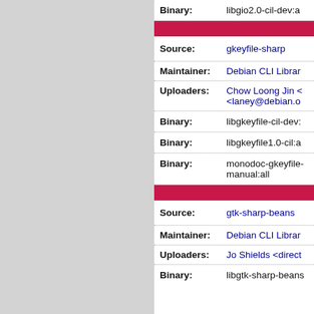| Field | Value |
| --- | --- |
| Binary: | libgio2.0-cil-dev:a |
| Source: | gkeyfile-sharp |
| Maintainer: | Debian CLI Librar |
| Uploaders: | Chow Loong Jin < <laney@debian.o |
| Binary: | libgkeyfile-cil-dev: |
| Binary: | libgkeyfile1.0-cil:a |
| Binary: | monodoc-gkeyfile- manual:all |
| Source: | gtk-sharp-beans |
| Maintainer: | Debian CLI Librar |
| Uploaders: | Jo Shields <direct |
| Binary: | libgtk-sharp-beans |